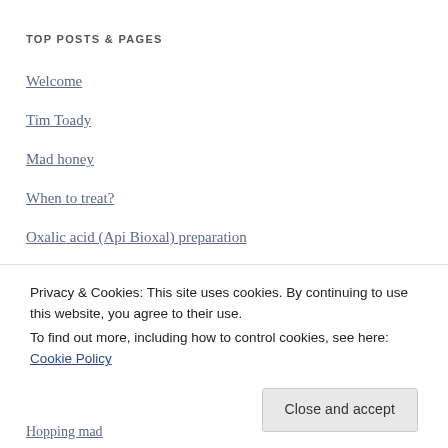TOP POSTS & PAGES
Welcome
Tim Toady
Mad honey
When to treat?
Oxalic acid (Api Bioxal) preparation
ARCHIVES
Privacy & Cookies: This site uses cookies. By continuing to use this website, you agree to their use.
To find out more, including how to control cookies, see here: Cookie Policy
Close and accept
Hopping mad